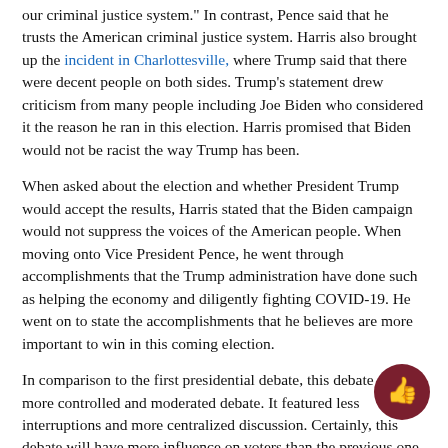our criminal justice system." In contrast, Pence said that he trusts the American criminal justice system. Harris also brought up the incident in Charlottesville, where Trump said that there were decent people on both sides. Trump's statement drew criticism from many people including Joe Biden who considered it the reason he ran in this election. Harris promised that Biden would not be racist the way Trump has been.
When asked about the election and whether President Trump would accept the results, Harris stated that the Biden campaign would not suppress the voices of the American people. When moving onto Vice President Pence, he went through accomplishments that the Trump administration have done such as helping the economy and diligently fighting COVID-19. He went on to state the accomplishments that he believes are more important to win in this coming election.
In comparison to the first presidential debate, this debate was a more controlled and moderated debate. It featured less interruptions and more centralized discussion. Certainly, this debate will have more influence on voters than the previous one.
You can watch the whole debate here.